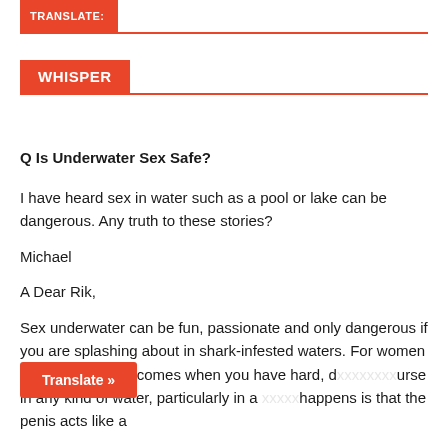TRANSLATE:
WHISPER
Q Is Underwater Sex Safe?
I have heard sex in water such as a pool or lake can be dangerous. Any truth to these stories?
Michael
A Dear Rik,
Sex underwater can be fun, passionate and only dangerous if you are splashing about in shark-infested waters. For women however, the risk comes when you have hard, d... urse in any kind of water, particularly in a ... happens is that the penis acts like a
Translate »